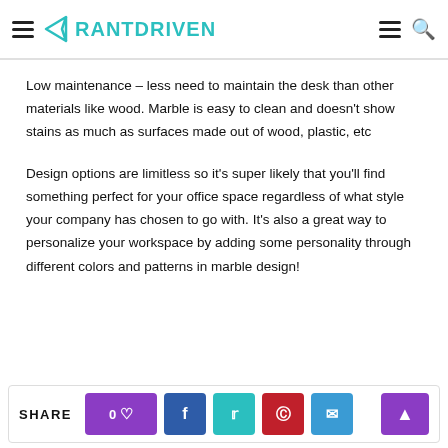RANTDRIVEN
Low maintenance – less need to maintain the desk than other materials like wood. Marble is easy to clean and doesn't show stains as much as surfaces made out of wood, plastic, etc
Design options are limitless so it's super likely that you'll find something perfect for your office space regardless of what style your company has chosen to go with. It's also a great way to personalize your workspace by adding some personality through different colors and patterns in marble design!
SHARE 0♡ f t p ✉ ▲